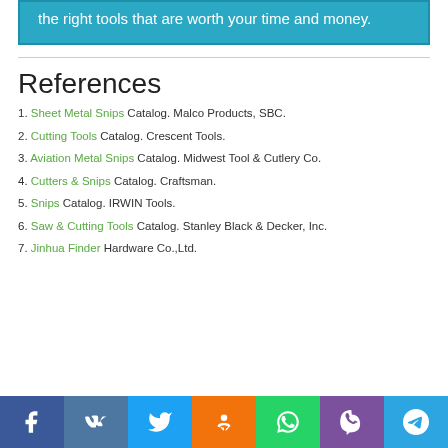the right tools that are worth your time and money.
References
1. Sheet Metal Snips Catalog. Malco Products, SBC.
2. Cutting Tools Catalog. Crescent Tools.
3. Aviation Metal Snips Catalog. Midwest Tool & Cutlery Co.
4. Cutters & Snips Catalog. Craftsman.
5. Snips Catalog. IRWIN Tools.
6. Saw & Cutting Tools Catalog. Stanley Black & Decker, Inc.
7. Jinhua Finder Hardware Co.,Ltd.
[Figure (infographic): Social media sharing bar with icons for Facebook, VK, Twitter, Odnoklassniki, WhatsApp, Viber, and Telegram]